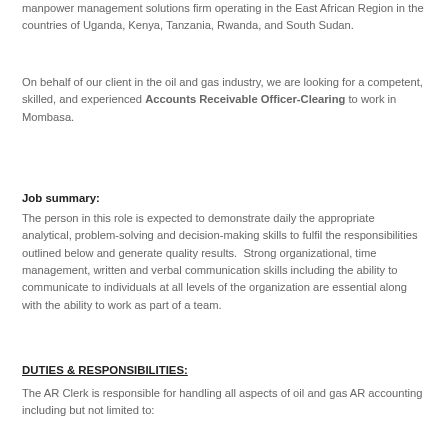manpower management solutions firm operating in the East African Region in the countries of Uganda, Kenya, Tanzania, Rwanda, and South Sudan.
On behalf of our client in the oil and gas industry, we are looking for a competent, skilled, and experienced Accounts Receivable Officer-Clearing to work in Mombasa.
Job summary:
The person in this role is expected to demonstrate daily the appropriate analytical, problem-solving and decision-making skills to fulfil the responsibilities outlined below and generate quality results.  Strong organizational, time management, written and verbal communication skills including the ability to communicate to individuals at all levels of the organization are essential along with the ability to work as part of a team.
DUTIES & RESPONSIBILITIES:
The AR Clerk is responsible for handling all aspects of oil and gas AR accounting including but not limited to: